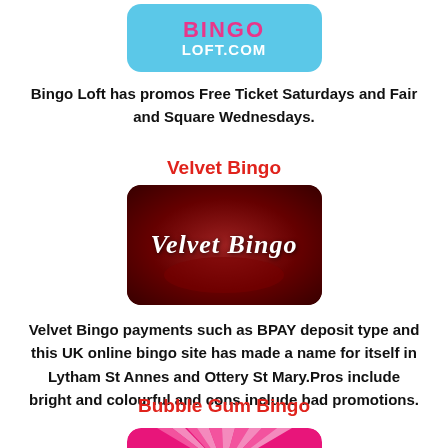[Figure (logo): Bingo Loft logo on light blue background with pink BINGO text and white LOFT.COM]
Bingo Loft has promos Free Ticket Saturdays and Fair and Square Wednesdays.
Velvet Bingo
[Figure (logo): Velvet Bingo logo with dark red/maroon background and white cursive Velvet Bingo text]
Velvet Bingo payments such as BPAY deposit type and this UK online bingo site has made a name for itself in Lytham St Annes and Ottery St Mary.Pros include bright and colourful and cons include bad promotions.
Bubble Gum Bingo
[Figure (logo): Bubble Gum Bingo logo with pink and white sunburst stripes at bottom of page]